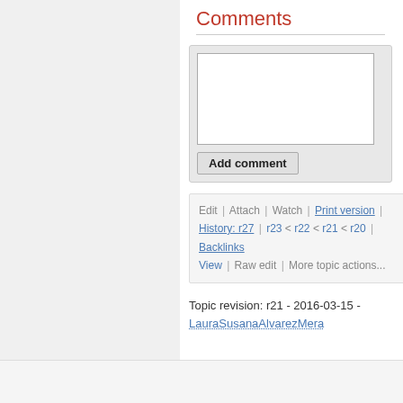Comments
[Figure (screenshot): Comment input box with textarea and 'Add comment' button]
Edit | Attach | Watch | Print version | History: r27 | r23 < r22 < r21 < r20 | Backlinks | View | Raw edit | More topic actions...
Topic revision: r21 - 2016-03-15 - LauraSusanaAlvarezMera
[Figure (logo): Powered by Perl logo]
[Figure (logo): Collaborate with TWiki logo]